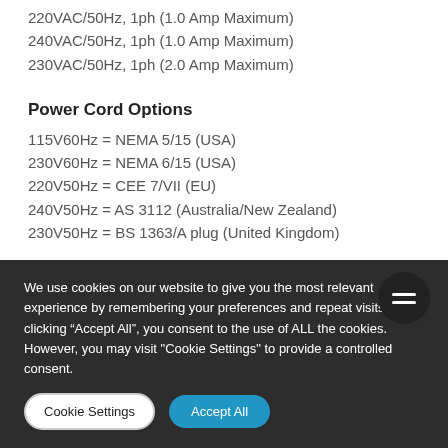220VAC/50Hz, 1ph (1.0 Amp Maximum)
240VAC/50Hz, 1ph (1.0 Amp Maximum)
230VAC/50Hz, 1ph (2.0 Amp Maximum)
Power Cord Options
115V60Hz = NEMA 5/15 (USA)
230V60Hz = NEMA 6/15 (USA)
220V50Hz = CEE 7/VII (EU)
240V50Hz = AS 3112 (Australia/New Zealand)
230V50Hz = BS 1363/A plug (United Kingdom)
We use cookies on our website to give you the most relevant experience by remembering your preferences and repeat visits. By clicking “Accept All”, you consent to the use of ALL the cookies. However, you may visit "Cookie Settings" to provide a controlled consent.